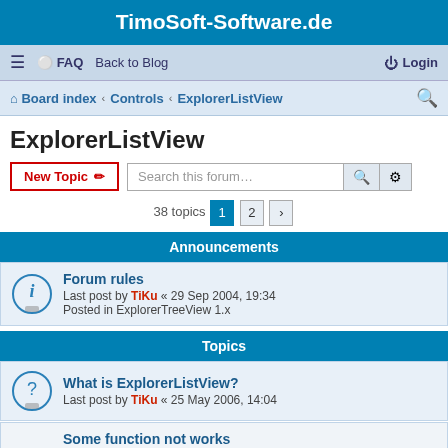TimoSoft-Software.de
≡  FAQ  Back to Blog  Login
Board index › Controls › ExplorerListView
ExplorerListView
New Topic  Search this forum…  38 topics  1  2  »
Announcements
Forum rules
Last post by TiKu « 29 Sep 2004, 19:34
Posted in ExplorerTreeView 1.x
Topics
What is ExplorerListView?
Last post by TiKu « 25 May 2006, 14:04
Some function not works
Last post by TiKu « 16 Aug 2019, 18:29
Replies: 1
For Each <group> In .Groups bug